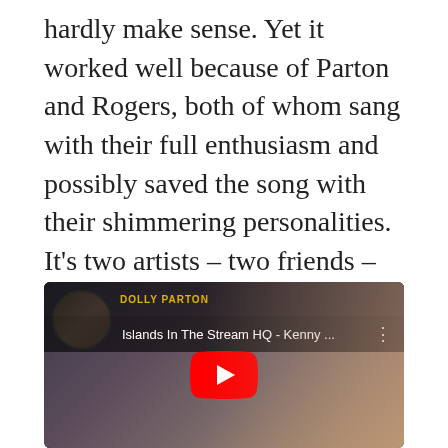hardly make sense. Yet it worked well because of Parton and Rogers, both of whom sang with their full enthusiasm and possibly saved the song with their shimmering personalities. It's two artists – two friends – simply having a great time singing an otherwise silly song. Join me next time for the final volume of 'Pop Goes The Country,' where we'll close out 2019 by talking about – who else? – Billy Ray Cyrus and his horse at the old town road achy breaky heart.
[Figure (screenshot): YouTube video thumbnail for 'Islands In The Stream HQ - Kenny ...' showing a close-up of a woman (Dolly Parton) with a man's avatar thumbnail in the top left corner. Red YouTube play button in center.]